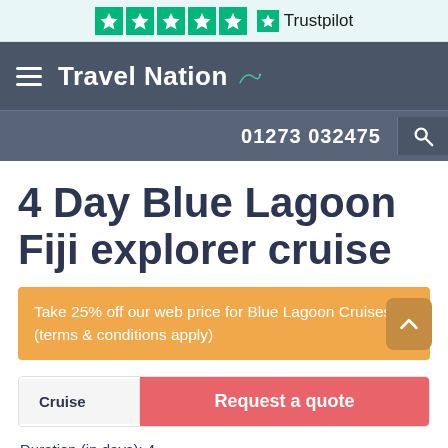[Figure (logo): Trustpilot rating bar with 5 green stars and Trustpilot logo]
Travel Nation — 01273 032475
4 Day Blue Lagoon Fiji explorer cruise
Take 25% off our web price for Blue Lagoon Cruises (terms & conditions apply)
Cruise   Request a quote
Duration (in days): 4